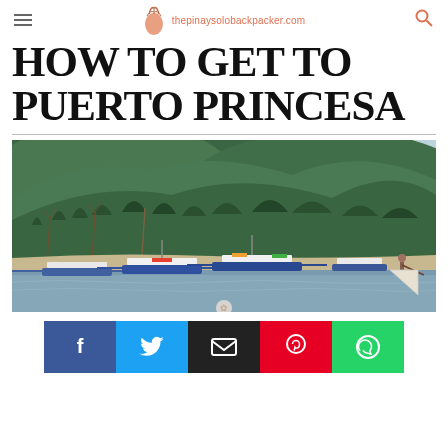thepinaysolobackpacker.com
HOW TO GET TO PUERTO PRINCESA
[Figure (photo): Coastal scene with traditional Filipino outrigger boats (bangkas) docked near a shoreline with a densely forested hill in the background, overcast sky, and a fisherman in the foreground right.]
Social share buttons: Facebook, Twitter, Email, Pinterest, WhatsApp